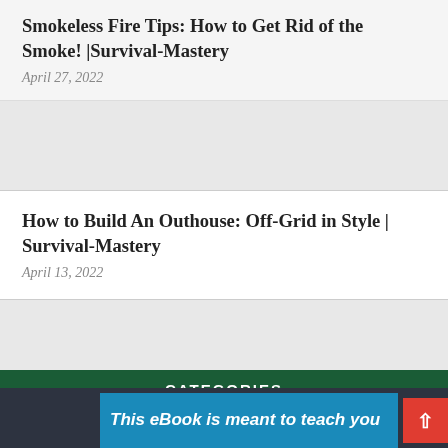Smokeless Fire Tips: How to Get Rid of the Smoke! |Survival-Mastery
April 27, 2022
How to Build An Outhouse: Off-Grid in Style | Survival-Mastery
April 13, 2022
CATEGORIES
Select Category
This eBook is meant to teach you